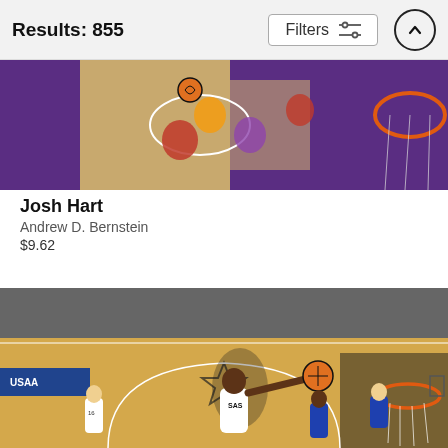Results: 855
[Figure (photo): Overhead view of basketball game showing players near basket with purple court and red/orange net visible, Lakers vs another team]
Josh Hart
Andrew D. Bernstein
$9.62
[Figure (photo): Wide-angle basketball court photo showing a Spurs player dunking with Golden State Warriors players in background, Spurs logo at center court]